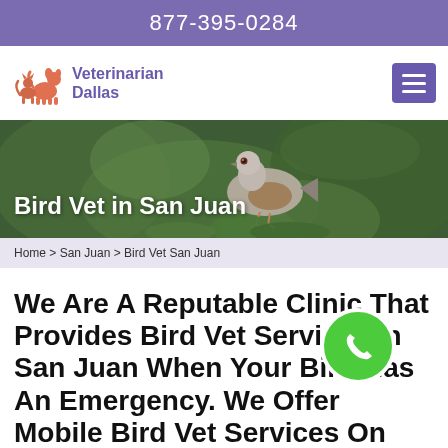877-395-0284
[Figure (logo): Veterinarian Dallas logo with cat and dog silhouettes in orange/salmon color]
Veterinarian Dallas
[Figure (photo): Hero image of a pigeon/dove on green foliage background]
Bird Vet in San Juan
Home > San Juan > Bird Vet San Juan
We Are A Reputable Clinic That Provides Bird Vet Services in San Juan When Your Bird Has An Emergency. We Offer Mobile Bird Vet Services On Your S...